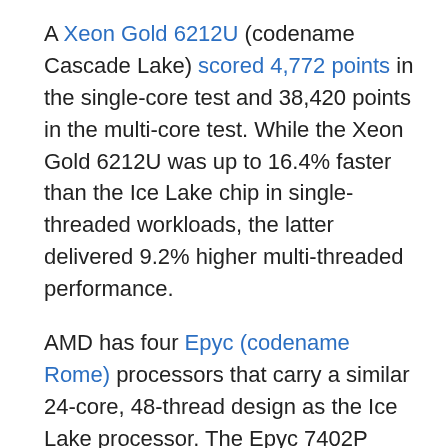A Xeon Gold 6212U (codename Cascade Lake) scored 4,772 points in the single-core test and 38,420 points in the multi-core test. While the Xeon Gold 6212U was up to 16.4% faster than the Ice Lake chip in single-threaded workloads, the latter delivered 9.2% higher multi-threaded performance.
AMD has four Epyc (codename Rome) processors that carry a similar 24-core, 48-thread design as the Ice Lake processor. The Epyc 7402P raked in single-and multi-core scores of 4,498 points and 42,155 points in the same Geekbench 4 benchmark. AMD's offering outperformed the Ice Lake part by up to 9.7% in single-threaded performance. Multi-threaded performance between the Epyc 7402P and 24-core Ice Lake was in the same ballpark.
Bear in mind that totally lists tab...